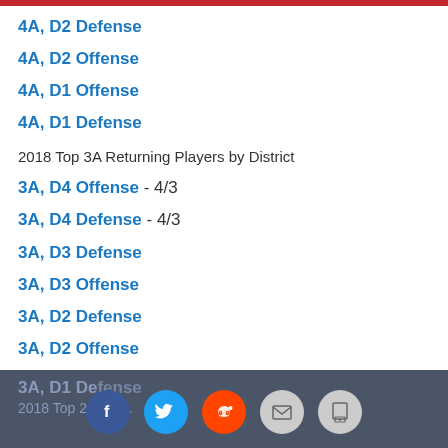4A, D2 Defense
4A, D2 Offense
4A, D1 Offense
4A, D1 Defense
2018 Top 3A Returning Players by District
3A, D4 Offense - 4/3
3A, D4 Defense - 4/3
3A, D3 Defense
3A, D3 Offense
3A, D2 Defense
3A, D2 Offense
3A, D1 Offense
3A, D1 Defense